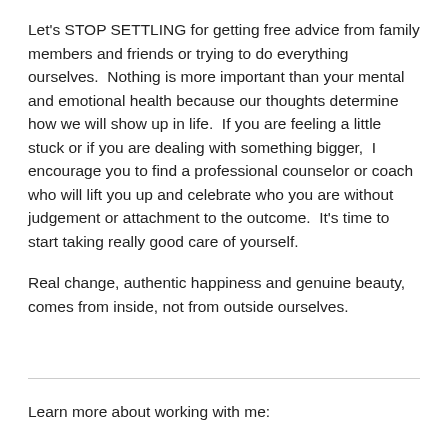Let's STOP SETTLING for getting free advice from family members and friends or trying to do everything ourselves.   Nothing is more important than your mental and emotional health because our thoughts determine how we will show up in life.  If you are feeling a little stuck or if you are dealing with something bigger,  I encourage you to find a professional counselor or coach who will lift you up and celebrate who you are without judgement or attachment to the outcome.  It's time to start taking really good care of yourself.
Real change, authentic happiness and genuine beauty, comes from inside, not from outside ourselves.
Learn more about working with me: